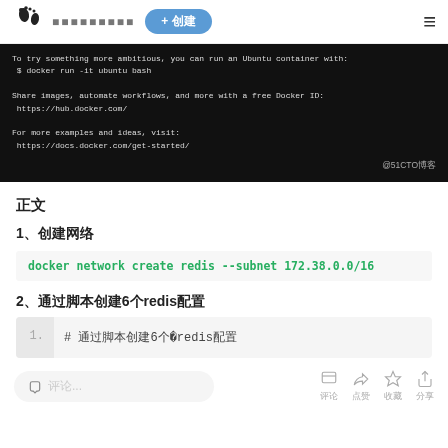网站名称  + 创建
[Figure (screenshot): Terminal output showing Docker run hello-world result, with text about running Ubuntu container with docker run -it ubuntu bash, sharing images, automating workflows with Docker ID at hub.docker.com, and more examples at docs.docker.com/get-started. Watermark: @51CTO博客]
正文
1、创建网络
docker network create redis --subnet 172.38.0.0/16
2、通过脚本创建6个redis配置
# 通过脚本创建6个redis配置